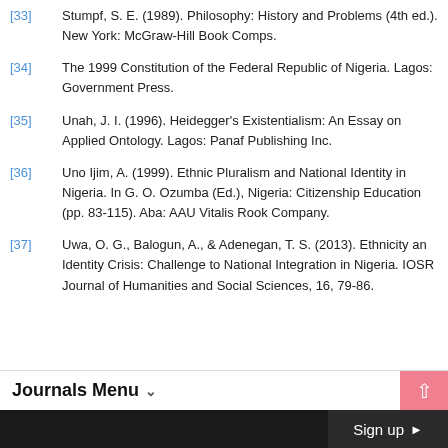[33] Stumpf, S. E. (1989). Philosophy: History and Problems (4th ed.). New York: McGraw-Hill Book Comps.
[34] The 1999 Constitution of the Federal Republic of Nigeria. Lagos: Government Press.
[35] Unah, J. I. (1996). Heidegger's Existentialism: An Essay on Applied Ontology. Lagos: Panaf Publishing Inc.
[36] Uno Ijim, A. (1999). Ethnic Pluralism and National Identity in Nigeria. In G. O. Ozumba (Ed.), Nigeria: Citizenship Education (pp. 83-115). Aba: AAU Vitalis Rook Company.
[37] Uwa, O. G., Balogun, A., & Adenegan, T. S. (2013). Ethnicity an Identity Crisis: Challenge to National Integration in Nigeria. IOSR Journal of Humanities and Social Sciences, 16, 79-86.
Journals Menu
Sign up